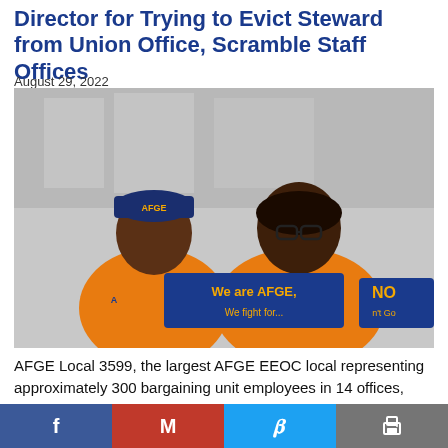Director for Trying to Evict Steward from Union Office, Scramble Staff Offices
August 29, 2022
[Figure (photo): Two women in orange AFGE t-shirts smiling outdoors, holding signs reading 'We are AFGE, We fight for...' and 'NO don't Go']
AFGE Local 3599, the largest AFGE EEOC local representing approximately 300 bargaining unit employees in 14 offices, successfully fought to prevent the moves from being required while the office was clos...